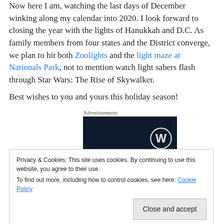Now here I am, watching the last days of December winking along my calendar into 2020. I look forward to closing the year with the lights of Hanukkah and D.C. As family members from four states and the District converge, we plan to hit both Zoolights and the light maze at Nationals Park, not to mention watch light sabers flash through Star Wars: The Rise of Skywalker.
Best wishes to you and yours this holiday season!
Advertisements
[Figure (other): Dark navy advertisement block with WordPress logo in lower right]
Privacy & Cookies: This site uses cookies. By continuing to use this website, you agree to their use.
To find out more, including how to control cookies, see here: Cookie Policy